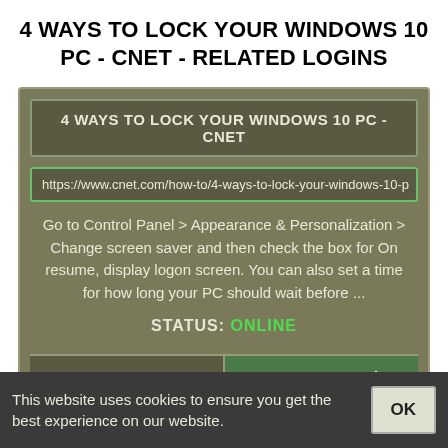4 WAYS TO LOCK YOUR WINDOWS 10 PC - CNET - RELATED LOGINS
[Figure (screenshot): A card UI showing a website result for '4 WAYS TO LOCK YOUR WINDOWS 10 PC - CNET' with URL bar, description text, STATUS: ONLINE indicator, and PREVIEW / DOWNLOAD buttons.]
This website uses cookies to ensure you get the best experience on our website.